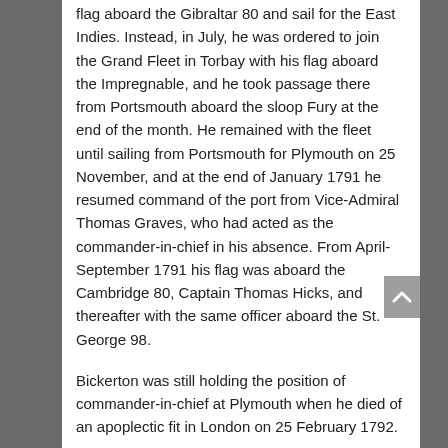flag aboard the Gibraltar 80 and sail for the East Indies. Instead, in July, he was ordered to join the Grand Fleet in Torbay with his flag aboard the Impregnable, and he took passage there from Portsmouth aboard the sloop Fury at the end of the month. He remained with the fleet until sailing from Portsmouth for Plymouth on 25 November, and at the end of January 1791 he resumed command of the port from Vice-Admiral Thomas Graves, who had acted as the commander-in-chief in his absence. From April-September 1791 his flag was aboard the Cambridge 80, Captain Thomas Hicks, and thereafter with the same officer aboard the St. George 98.
Bickerton was still holding the position of commander-in-chief at Plymouth when he died of an apoplectic fit in London on 25 February 1792.
He married Mary Anne Hussey of Wrexham on 2